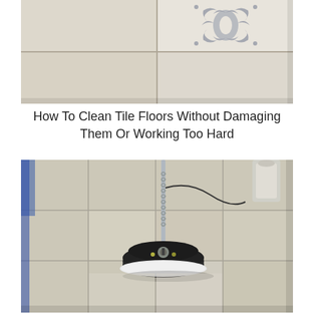[Figure (photo): Close-up photo of decorative floor tiles with floral/damask pattern in grey on white tile background, with grout lines visible]
How To Clean Tile Floors Without Damaging Them Or Working Too Hard
[Figure (photo): Photo of a floor cleaning machine (rotary scrubber/polisher) with black circular pad on beige/tan tile floor with visible grout lines, hose/cord attached]